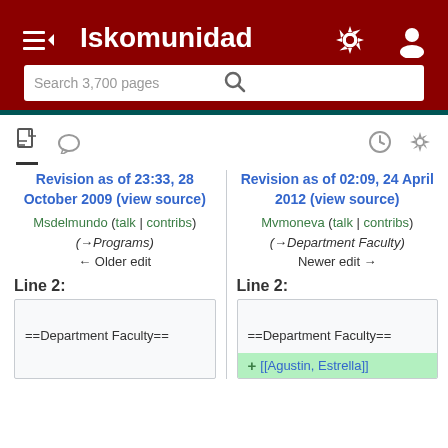Iskomunidad
Search 3,700 pages
Revision as of 23:33, 28 October 2009 (view source)
Msdelmundo (talk | contribs)
(→Programs)
← Older edit
Revision as of 02:09, 24 April 2012 (view source)
Mvmoneva (talk | contribs)
(→Department Faculty)
Newer edit →
Line 2:
Line 2:
==Department Faculty==
==Department Faculty==
+[[Agustin, Estrella]]